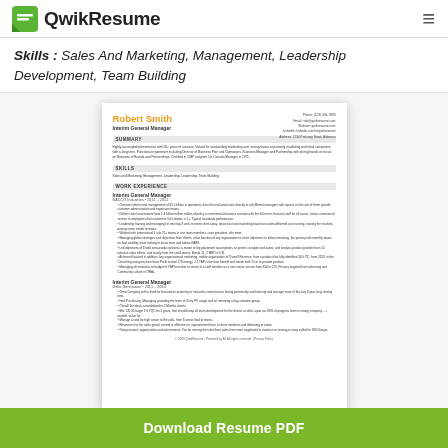QwikResume
Skills : Sales And Marketing, Management, Leadership Development, Team Building
[Figure (other): Thumbnail preview of a resume for Robert Smith, Interim General Manager, showing sections: Summary, Skills, Work Experience with bullet points.]
Download Resume PDF